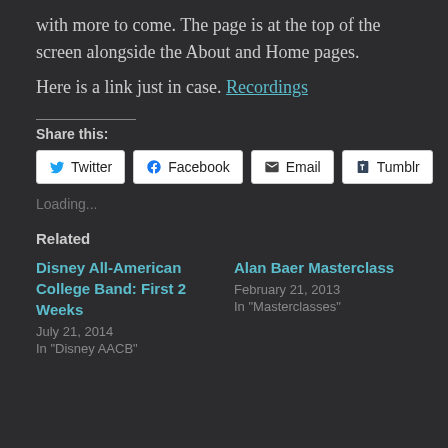with more to come. The page is at the top of the screen alongside the About and Home pages.
Here is a link just in case. Recordings
Share this:
Twitter  Facebook  Email  Tumblr
Loading...
Related
Disney All-American College Band: First 2 Weeks
July 21, 2014
In "Disney AACB"
Alan Baer Masterclass
February 21, 2013
In "Masterclasses"